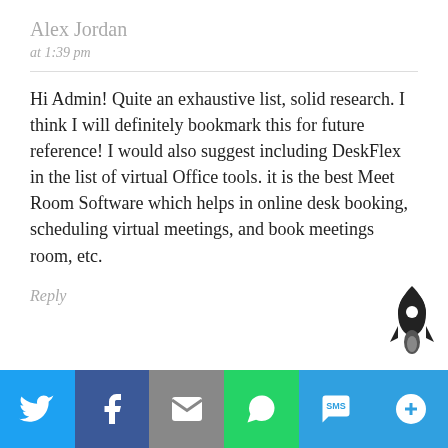Alex Jordan
at 1:39 pm
Hi Admin! Quite an exhaustive list, solid research. I think I will definitely bookmark this for future reference! I would also suggest including DeskFlex in the list of virtual Office tools. it is the best Meet Room Software which helps in online desk booking, scheduling virtual meetings, and book meetings room, etc.
Reply
[Figure (infographic): Social share bar with Twitter, Facebook, Email, WhatsApp, SMS, and More buttons]